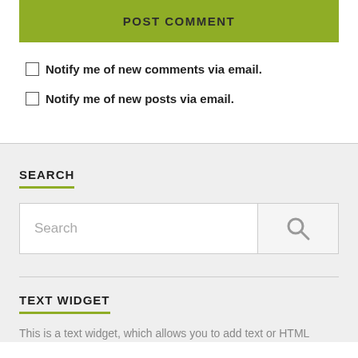[Figure (screenshot): POST COMMENT green button]
Notify me of new comments via email.
Notify me of new posts via email.
SEARCH
[Figure (screenshot): Search input field with magnifying glass icon button]
TEXT WIDGET
This is a text widget, which allows you to add text or HTML